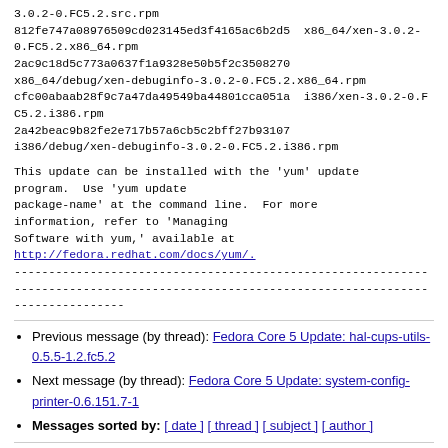3.0.2-0.FC5.2.src.rpm
812fe747a08976509cd023145ed3f4165ac6b2d5  x86_64/xen-3.0.2-0.FC5.2.x86_64.rpm
2ac9c18d5c773a0637f1a9328e50b5f2c3508270  x86_64/debug/xen-debuginfo-3.0.2-0.FC5.2.x86_64.rpm
cfc00abaab28f9c7a47da49549ba44801cca051a  i386/xen-3.0.2-0.FC5.2.i386.rpm
2a42beac9b82fe2e717b57a6cb5c2bff27b93107  i386/debug/xen-debuginfo-3.0.2-0.FC5.2.i386.rpm
This update can be installed with the 'yum' update program.  Use 'yum update package-name' at the command line.  For more information, refer to 'Managing Software with yum,' available at http://fedora.redhat.com/docs/yum/.
------------------------------------------------------------------------------------------------------------------------------------
Previous message (by thread): Fedora Core 5 Update: hal-cups-utils-0.5.5-1.2.fc5.2
Next message (by thread): Fedora Core 5 Update: system-config-printer-0.6.151.7-1
Messages sorted by: [ date ] [ thread ] [ subject ] [ author ]
More information about the Fedora-package-announce mailing li...